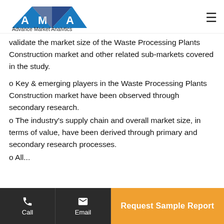Advance Market Analytics
validate the market size of the Waste Processing Plants Construction market and other related sub-markets covered in the study.
o Key & emerging players in the Waste Processing Plants Construction market have been observed through secondary research.
o The industry's supply chain and overall market size, in terms of value, have been derived through primary and secondary research processes.
o All...
Call  Email  Request Sample Report